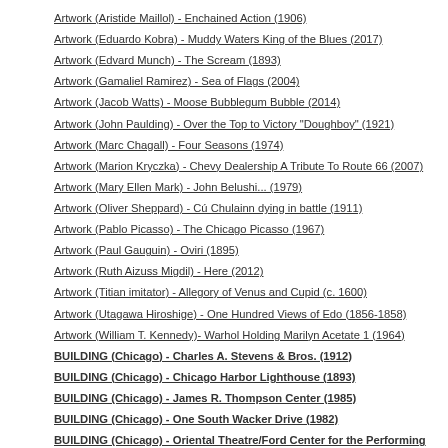Artwork (Aristide Maillol) - Enchained Action (1906)
Artwork (Eduardo Kobra) - Muddy Waters King of the Blues (2017)
Artwork (Edvard Munch) - The Scream (1893)
Artwork (Gamaliel Ramirez) - Sea of Flags (2004)
Artwork (Jacob Watts) - Moose Bubblegum Bubble (2014)
Artwork (John Paulding) - Over the Top to Victory "Doughboy" (1921)
Artwork (Marc Chagall) - Four Seasons (1974)
Artwork (Marion Kryczka) - Chevy Dealership A Tribute To Route 66 (2007)
Artwork (Mary Ellen Mark) - John Belushi... (1979)
Artwork (Oliver Sheppard) - Cú Chulainn dying in battle (1911)
Artwork (Pablo Picasso) - The Chicago Picasso (1967)
Artwork (Paul Gauguin) - Oviri (1895)
Artwork (Ruth Aizuss Migdil) - Here (2012)
Artwork (Titian imitator) - Allegory of Venus and Cupid (c. 1600)
Artwork (Utagawa Hiroshige) - One Hundred Views of Edo (1856-1858)
Artwork (William T. Kennedy)- Warhol Holding Marilyn Acetate 1 (1964)
BUILDING (Chicago) - Charles A. Stevens & Bros. (1912)
BUILDING (Chicago) - Chicago Harbor Lighthouse (1893)
BUILDING (Chicago) - James R. Thompson Center (1985)
BUILDING (Chicago) - One South Wacker Drive (1982)
BUILDING (Chicago) - Oriental Theatre/Ford Center for the Performing Arts (1926/1997)
BUILDING (Chicago) - Park Tower Condominium (1973)
BUILDING (Chicago) - Rowe Village (2003)
BUILDING (Chicago) - The Cobden (1892)
BUILDING (Chicago) - The Mentor (1906)
BUILDING (Chicago) – Sofitel Chicago Magnificent Mile (2002)
BUILDING (Milwaukee WI) - Iron Block (1861/1899)
BUILDING (Princeton University) - Charter House (1903)
Business (enterprise) - McDonald's Corp.  Business (Entrepreneur) - Ray Kroc
Businessperson - James B. Martin (1814-1878)  Cars & Trucks  Cars - muscle
Chicago - Loop  Composer - Brian Wilson